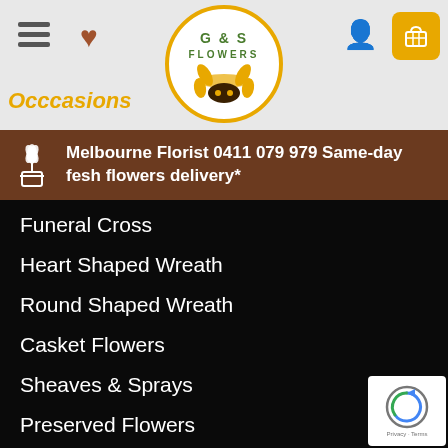[Figure (logo): G&S Flowers logo in a circular gold-bordered badge with sunflower graphic]
Occcasions
Melbourne Florist 0411 079 979 Same-day fesh flowers delivery*
Funeral Cross
Heart Shaped Wreath
Round Shaped Wreath
Casket Flowers
Sheaves & Sprays
Preserved Flowers
Price $25 - $60